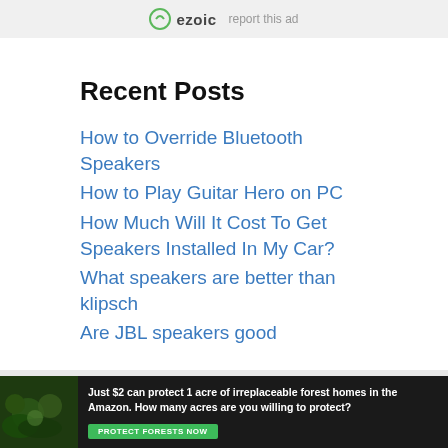ezoic   report this ad
Recent Posts
How to Override Bluetooth Speakers
How to Play Guitar Hero on PC
How Much Will It Cost To Get Speakers Installed In My Car?
What speakers are better than klipsch
Are JBL speakers good
[Figure (infographic): Advertisement banner: Just $2 can protect 1 acre of irreplaceable forest homes in the Amazon. How many acres are you willing to protect? PROTECT FORESTS NOW button on dark forest background.]